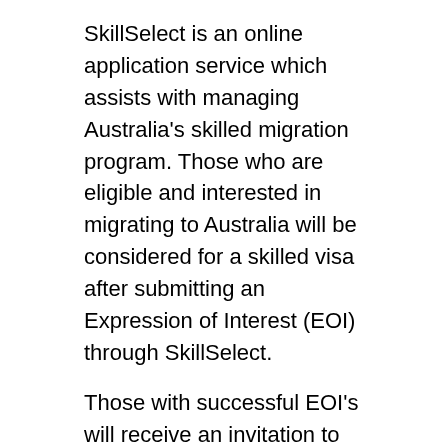SkillSelect is an online application service which assists with managing Australia's skilled migration program. Those who are eligible and interested in migrating to Australia will be considered for a skilled visa after submitting an Expression of Interest (EOI) through SkillSelect.
Those with successful EOI's will receive an invitation to apply for the visa they have expressed an interest in. SkillSelect covers the subclass 189, subclass 190 (nominated by a state or territory government agency) and subclass 489 (also nominated by a state or territory government agency).
Point-based skilled migration– the main skilled migration category
Independent migrants are selected on the basis of their skills, attributes and suitability for employment.